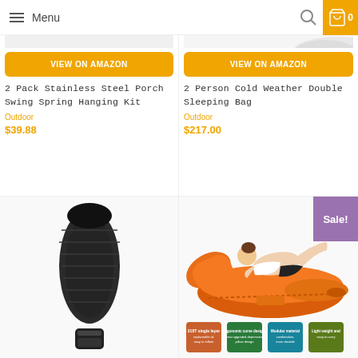Menu
VIEW ON AMAZON
2 Pack Stainless Steel Porch Swing Spring Hanging Kit
Outdoor
$39.88
VIEW ON AMAZON
2 Person Cold Weather Double Sleeping Bag
Outdoor
$217.00
[Figure (photo): Black mummy sleeping bag with carrying case below]
[Figure (photo): Orange inflatable lounger with woman reclining, with feature icons below. Sale badge in upper right corner.]